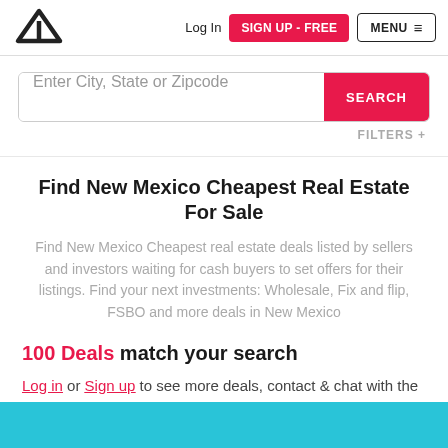Log In | SIGN UP - FREE | MENU
Enter City, State or Zipcode | SEARCH | FILTERS +
Find New Mexico Cheapest Real Estate For Sale
Find New Mexico Cheapest real estate deals listed by sellers and investors waiting for cash buyers to set offers for their listings. Find your next investments: Wholesale, Fix and flip, FSBO and more deals in New Mexico
100 Deals match your search
Log in or Sign up to see more deals, contact & chat with the listing owners, post your own deals, etc!
[Figure (photo): Partial blue/teal image at bottom of page, likely a property or car photo]